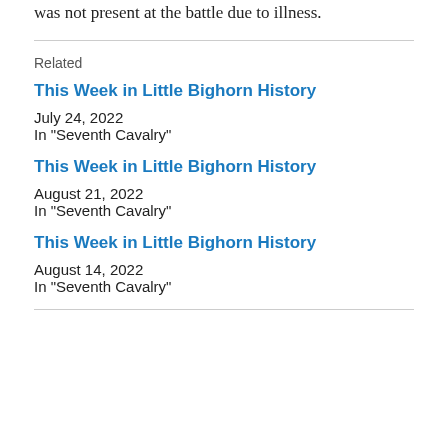was not present at the battle due to illness.
Related
This Week in Little Bighorn History
July 24, 2022
In "Seventh Cavalry"
This Week in Little Bighorn History
August 21, 2022
In "Seventh Cavalry"
This Week in Little Bighorn History
August 14, 2022
In "Seventh Cavalry"